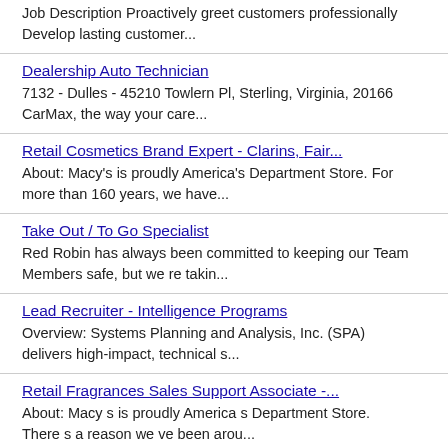Job Description Proactively greet customers professionally Develop lasting customer...
Dealership Auto Technician
7132 - Dulles - 45210 Towlern Pl, Sterling, Virginia, 20166
CarMax, the way your care...
Retail Cosmetics Brand Expert - Clarins, Fair...
About: Macy's is proudly America's Department Store. For more than 160 years, we have...
Take Out / To Go Specialist
Red Robin has always been committed to keeping our Team Members safe, but we re takin...
Lead Recruiter - Intelligence Programs
Overview: Systems Planning and Analysis, Inc. (SPA) delivers high-impact, technical s...
Retail Fragrances Sales Support Associate -...
About: Macy s is proudly America s Department Store. There s a reason we ve been arou...